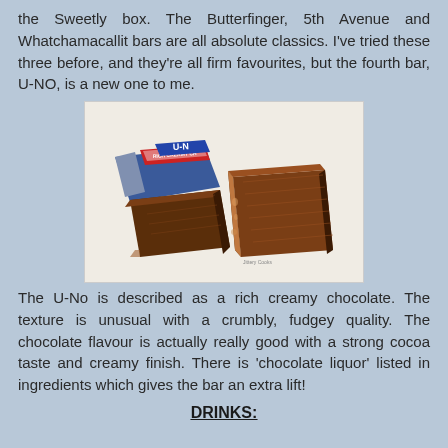the Sweetly box. The Butterfinger, 5th Avenue and Whatchamacallit bars are all absolute classics. I've tried these three before, and they're all firm favourites, but the fourth bar, U-NO, is a new one to me.
[Figure (photo): Photo of a U-No candy bar - showing the wrapper with 'Rich Creamy Ch...' text and two pieces of the chocolate bar broken apart, revealing a crumbly fudgy interior.]
The U-No is described as a rich creamy chocolate. The texture is unusual with a crumbly, fudgey quality. The chocolate flavour is actually really good with a strong cocoa taste and creamy finish. There is 'chocolate liquor' listed in ingredients which gives the bar an extra lift!
DRINKS: